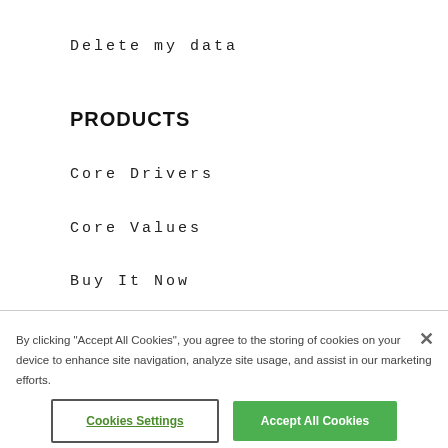Delete my data
PRODUCTS
Core Drivers
Core Values
Buy It Now
By clicking “Accept All Cookies”, you agree to the storing of cookies on your device to enhance site navigation, analyze site usage, and assist in our marketing efforts.
Cookies Settings
Accept All Cookies